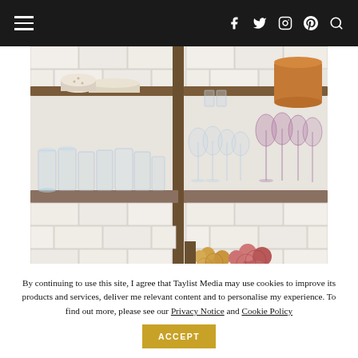≡  f  twitter  instagram  pinterest  search
[Figure (photo): Kitchen shelves with glassware, dishes, copper pots, and vegetables on white subway tile background with wooden shelving]
By continuing to use this site, I agree that Taylist Media may use cookies to improve its products and services, deliver me relevant content and to personalise my experience. To find out more, please see our Privacy Notice and Cookie Policy
ACCEPT